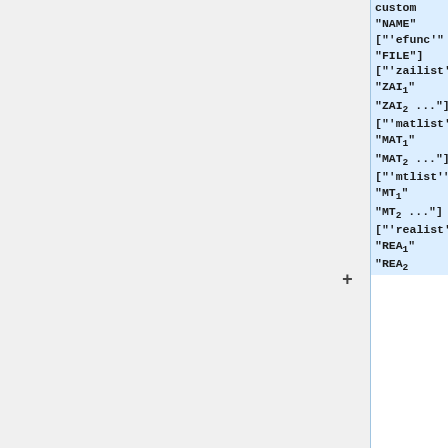custom "NAME" ['efunc' "FILE"] ['zailist' "ZAI1" "ZAI2" ...] ['matlist' "MAT1" "MAT2" ...] ['mtlist' "MT1" "MT2" ...] ['realist' "REA1" "REA2"...